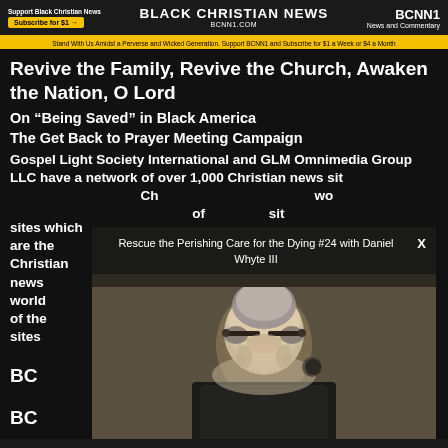Support Black Christian News | Subscribe for $1 | BLACK CHRISTIAN NEWS | BCNN1.COM | BCNN1 | News and Commentary
Stand With Us Amidst a Perverse and Wicked Generation. Support BCNN1 and Subscribe for $1 a Week or $4 a Month
Revive the Family, Revive the Church, Awaken the Nation, O Lord
On “Being Saved” in Black America
The Get Back to Prayer Meeting Campaign
Gospel Light Society International and GLM Omnimedia Group LLC have a network of over 1,000 Christian news sites which are the most visited Christian news sites in the world of the most visited Christian news sites
[Figure (screenshot): Video overlay showing a man with white hair and beard wearing glasses, with title 'Rescue the Perishing Care for the Dying #24 with Daniel Whyte III' and a close X button]
BC
BC